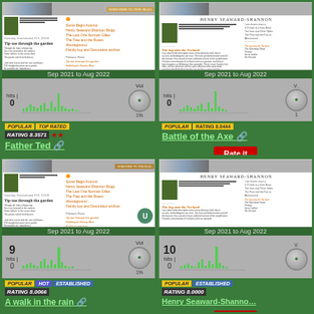[Figure (screenshot): Blog screenshot - Father Ted entry, showing Sep 2021 to Aug 2022 stats]
Sep 2021 to Aug 2022
[Figure (bar-chart): Traffic hits bar chart, max 0, 1%]
POPULAR TOP RATED RATING 8.3571 ★★ Father Ted
Rate it
[Figure (screenshot): Blog screenshot - Battle of the Axe entry]
Sep 2021 to Aug 2022
[Figure (bar-chart): Traffic hits bar chart, 1%]
POPULAR RATING 8.0444 Battle of the Axe
Rate it
[Figure (screenshot): Blog screenshot - A walk in the rain / Tip-toe through the garden post by Henry Seaward-Shannon]
Sep 2021 to Aug 2022
[Figure (bar-chart): Traffic hits bar chart showing 9 hits]
POPULAR HOT ESTABLISHED RATING 8.0066 A walk in the rain
Rate it
[Figure (screenshot): Blog screenshot - Henry Seaward-Shannon blog]
Sep 2021 to Aug 2022
[Figure (bar-chart): Traffic hits bar chart showing 10 hits]
POPULAR ESTABLISHED RATING 8.0000 Henry Seaward-Shannon
Rate it